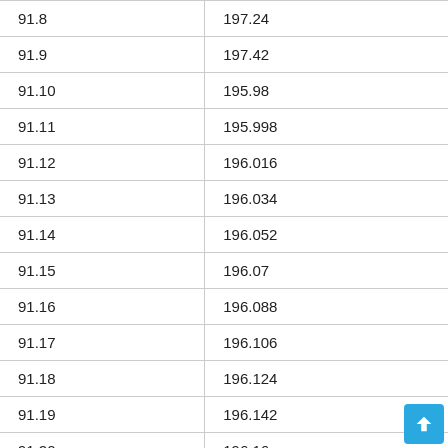| 91.8 | 197.24 |
| 91.9 | 197.42 |
| 91.10 | 195.98 |
| 91.11 | 195.998 |
| 91.12 | 196.016 |
| 91.13 | 196.034 |
| 91.14 | 196.052 |
| 91.15 | 196.07 |
| 91.16 | 196.088 |
| 91.17 | 196.106 |
| 91.18 | 196.124 |
| 91.19 | 196.142 |
| 91.20 | 196.16 |
| 91.21 | 196.178 |
| 91.22 | 196.196 |